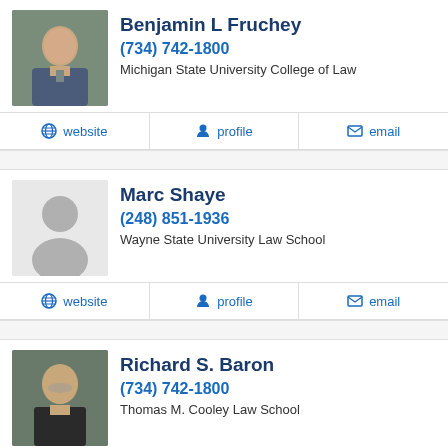[Figure (photo): Professional headshot of Benjamin L Fruchey, man in suit]
Benjamin L Fruchey
(734) 742-1800
Michigan State University College of Law
website | profile | email
[Figure (photo): Placeholder silhouette for Marc Shaye]
Marc Shaye
(248) 851-1936
Wayne State University Law School
website | profile | email
[Figure (photo): Professional headshot of Richard S. Baron, man with glasses and mustache]
Richard S. Baron
(734) 742-1800
Thomas M. Cooley Law School
website | profile | email